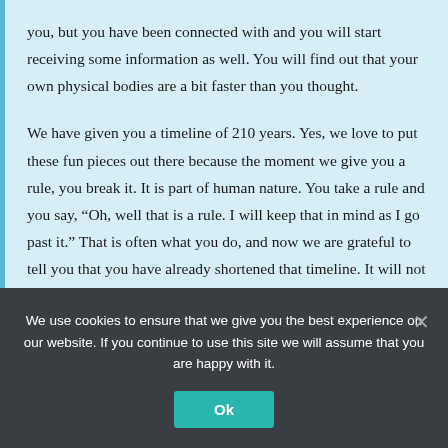you, but you have been connected with and you will start receiving some information as well. You will find out that your own physical bodies are a bit faster than you thought.
We have given you a timeline of 210 years. Yes, we love to put these fun pieces out there because the moment we give you a rule, you break it. It is part of human nature. You take a rule and you say, “Oh, well that is a rule. I will keep that in mind as I go past it.” That is often what you do, and now we are grateful to tell you that you have already shortened that timeline. It will not actually take you 210 years to complete this cycle, for you are currently in the 190 range. Actually, we are not even going to go by the numbers
We use cookies to ensure that we give you the best experience on our website. If you continue to use this site we will assume that you are happy with it.